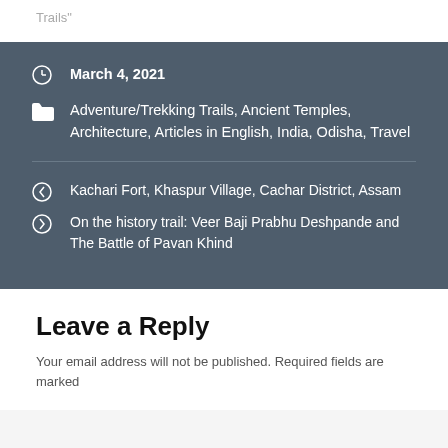Trails"
March 4, 2021
Adventure/Trekking Trails, Ancient Temples, Architecture, Articles in English, India, Odisha, Travel
Kachari Fort, Khaspur Village, Cachar District, Assam
On the history trail: Veer Baji Prabhu Deshpande and The Battle of Pavan Khind
Leave a Reply
Your email address will not be published. Required fields are marked